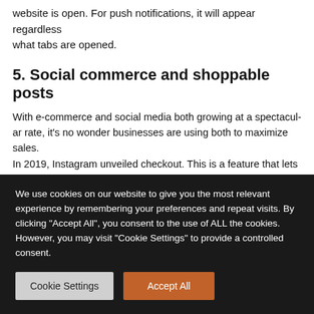website is open. For push notifications, it will appear regardless what tabs are opened.
5. Social commerce and shoppable posts
With e-commerce and social media both growing at a spectacular rate, it's no wonder businesses are using both to maximize sales. In 2019, Instagram unveiled checkout. This is a feature that lets users access the Instagram shop and complete their purchases from within the application.
The Facebook shop will let you connect to customers through
We use cookies on our website to give you the most relevant experience by remembering your preferences and repeat visits. By clicking "Accept All", you consent to the use of ALL the cookies. However, you may visit "Cookie Settings" to provide a controlled consent.